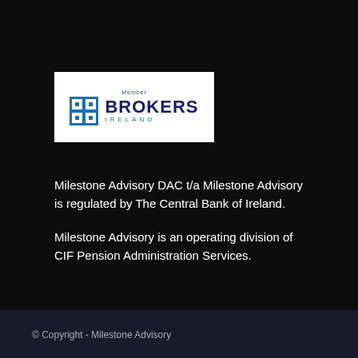[Figure (logo): Brokers Ireland member logo — white background rectangle with blue square icon and text 'BROKERS IRELAND' in dark blue/navy, with 'Member' text above]
Milestone Advisory DAC t/a Milestone Advisory is regulated by The Central Bank of Ireland.
Milestone Advisory is an operating division of CIF Pension Administration Services.
© Copyright - Milestone Advisory